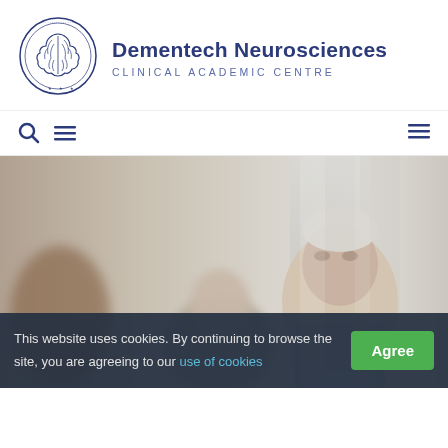[Figure (logo): Dementech Neurosciences circular logo with brain illustration and Greek text around the border]
Dementech Neurosciences CLINICAL ACADEMIC CENTRE
[Figure (photo): Elderly people in a clinical setting, blurred background with soft light]
This website uses cookies. By continuing to browse the site, you are agreeing to our use of cookies